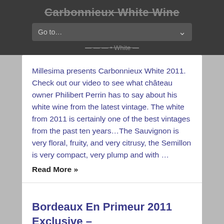Carbonnieux White Wine
Millesima presents Carbonnieux White 2011. Check out our video to see what château owner Philibert Perrin has to say about his white wine from the latest vintage. The white from 2011 is certainly one of the best vintages from the past ten years…The Sauvignon is very floral, fruity, and very citrusy, the Semillon is very compact, very plump and with …
Read More »
[Figure (other): Tweet button with Twitter bird icon]
Bordeaux En Primeur 2011 Exclusive –